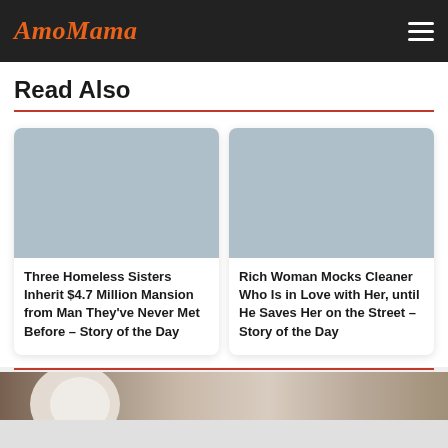AmoMama
Read Also
[Figure (photo): Placeholder image for article about Three Homeless Sisters]
Three Homeless Sisters Inherit $4.7 Million Mansion from Man They've Never Met Before – Story of the Day
[Figure (photo): Placeholder image for article about Rich Woman Mocks Cleaner]
Rich Woman Mocks Cleaner Who Is in Love with Her, until He Saves Her on the Street – Story of the Day
[Figure (photo): Photo of an elderly person with white hair, partially visible at bottom of page]